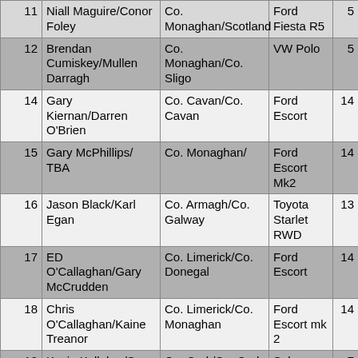| # | Driver/Co-driver | County | Car | Pts |
| --- | --- | --- | --- | --- |
| 11 | Niall Maguire/Conor Foley | Co. Monaghan/Scotland | Ford Fiesta R5 | 5 |
| 12 | Brendan Cumiskey/Mullen Darragh | Co. Monaghan/Co. Sligo | VW Polo | 5 |
| 14 | Gary Kiernan/Darren O'Brien | Co. Cavan/Co. Cavan | Ford Escort | 14 |
| 15 | Gary McPhillips/TBA | Co. Monaghan/ | Ford Escort Mk2 | 14 |
| 16 | Jason Black/Karl Egan | Co. Armagh/Co. Galway | Toyota Starlet RWD | 13 |
| 17 | ED O'Callaghan/Gary McCrudden | Co. Limerick/Co. Donegal | Ford Escort | 14 |
| 18 | Chris O'Callaghan/Kaine Treanor | Co. Limerick/Co. Monaghan | Ford Escort mk 2 | 14 |
| 19 | Kevin Kelleher/Sean Hayde | Co. Cork/Co. Cork | Subaru S14 | 7 |
| 20R | Keith Lyons/JJ Cremin | Co. Limerick/Cork | Ford Fiesta R5 | 5 |
| 21 | Paul Barrett/Kevin … | Co. Kildare/Co. … | Ford Fiesta |  |